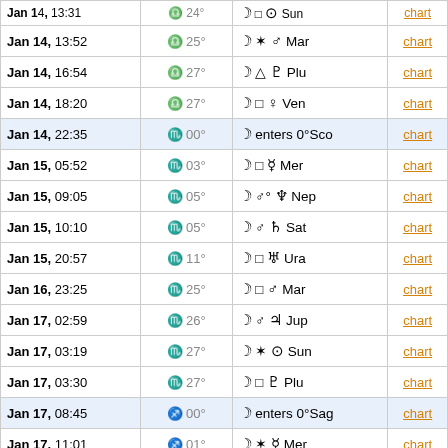| Date/Time | Sign/Degree | Aspect | Link |
| --- | --- | --- | --- |
| Jan 14, 13:31 (partial) | ♎ 24° | ☽ □ ⊙ Sun | chart |
| Jan 14, 13:52 | ♎ 25° | ☽ ✶ ♂ Mar | chart |
| Jan 14, 16:54 | ♎ 27° | ☽ △ ♇ Plu | chart |
| Jan 14, 18:20 | ♎ 27° | ☽ □ ♀ Ven | chart |
| Jan 14, 22:35 | ♏ 00° | ☽ enters 0°Sco | chart |
| Jan 15, 05:52 | ♏ 03° | ☽ □ ☿ Mer | chart |
| Jan 15, 09:05 | ♏ 05° | ☽ ♂° ♆ Nep | chart |
| Jan 15, 10:10 | ♏ 05° | ☽ ♂ ♄ Sat | chart |
| Jan 15, 20:57 | ♏ 11° | ☽ □ ♅ Ura | chart |
| Jan 16, 23:25 | ♏ 25° | ☽ □ ♂ Mar | chart |
| Jan 17, 02:59 | ♏ 26° | ☽ ♂ ♃ Jup | chart |
| Jan 17, 03:19 | ♏ 27° | ☽ ✶ ⊙ Sun | chart |
| Jan 17, 03:30 | ♏ 27° | ☽ □ ♇ Plu | chart |
| Jan 17, 08:45 | ♐ 00° | ☽ enters 0°Sag | chart |
| Jan 17, 11:01 | ♐ 01° | ☽ ✶ ☿ Mer | chart |